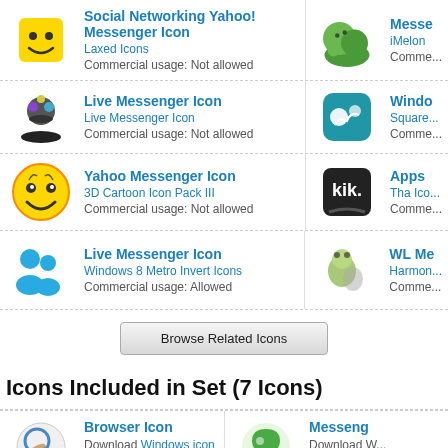Social Networking Yahoo! Messenger Icon | Laxed Icons | Commercial usage: Not allowed
Messe... | iMelon | Comme...
Live Messenger Icon | Live Messenger Icon | Commercial usage: Not allowed
Windo... | Square... | Comme...
Yahoo Messenger Icon | 3D Cartoon Icon Pack III | Commercial usage: Not allowed
Apps... | Tha Ico... | Comme...
Live Messenger Icon | Windows 8 Metro Invert Icons | Commercial usage: Allowed
WL Me... | Harmon... | Comme...
Browse Related Icons
Icons Included in Set (7 Icons)
Browser Icon | Download Windows icon | Download PNG files
Messeng... | Download W... | Download ...